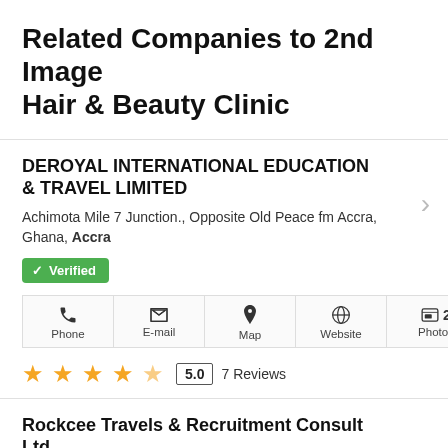Related Companies to 2nd Image Hair & Beauty Clinic
DEROYAL INTERNATIONAL EDUCATION & TRAVEL LIMITED
Achimota Mile 7 Junction., Opposite Old Peace fm Accra, Ghana, Accra
✓ Verified
Phone | E-mail | Map | Website | 2 Photos
★★★★★ 5.0  7 Reviews
Rockcee Travels & Recruitment Consult Ltd